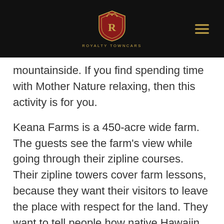ROYALTY TOWNCARS
mountainside. If you find spending time with Mother Nature relaxing, then this activity is for you.
Keana Farms is a 450-acre wide farm. The guests see the farm's view while going through their zipline courses. Their zipline towers cover farm lessons, because they want their visitors to leave the place with respect for the land. They want to tell people how native Hawaiin people care for nature.
On your tour, you can expect to see scenic boardwalks, sky bridges and a few surprises. Oahu Ziplining in Keana Farm